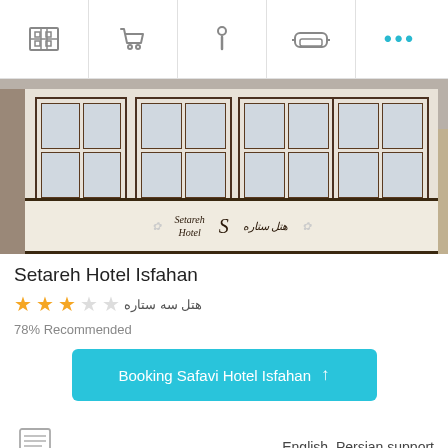Navigation bar with hotel, cart, info, couch, more icons
[Figure (photo): Hotel facade showing Setareh Hotel sign with windows and decorative elements]
Setareh Hotel Isfahan
هتل سه ستاره — 3 star rating (3 filled, 2 empty stars)
78% Recommended
Booking Safavi Hotel Isfahan ↑
English, Persian support
Guarantee the best price for booking a hotel